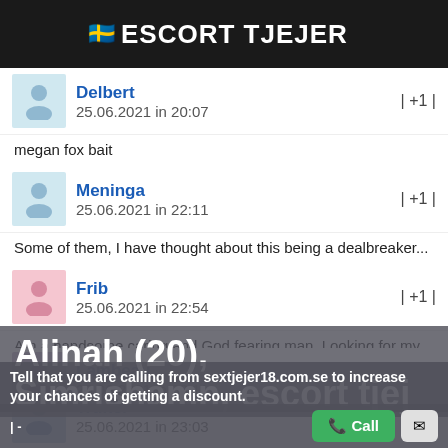ESCORT TJEJER
Delbert
25.06.2021 in 20:07
| +1 |
megan fox bait
Meninga
25.06.2021 in 22:11
| +1 |
Some of them, I have thought about this being a dealbreaker...
Frib
25.06.2021 in 22:54
| +1 |
Am a handsome caring and God fearing man. Looking for my better half on her.
Truhel
25.06.2021 in 23:03
| +1 |
Please Delete my account and all pictures I have uploaded. Thanks.
Alinah (20), Simrishamn, escort tjej
Tell that you are calling from sextjejer18.com.se to increase your chances of getting a discount.
Lambeau
26.06.2021 in 03:11